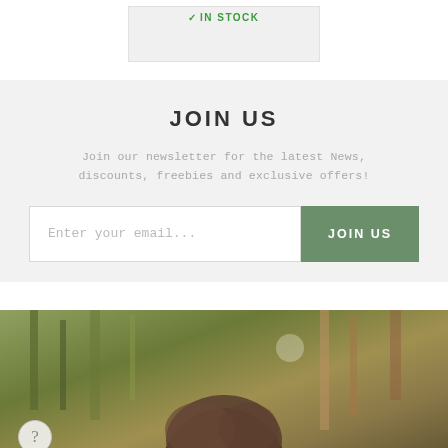✓IN STOCK
JOIN US
Join our newsletter for the latest News, discounts, freebies and exclusive offers!
Enter your email...
JOIN US
[Figure (photo): Outdoor photo showing a person from behind/top of head with green foliage background. A circular help/question mark button is visible in the bottom-left corner.]